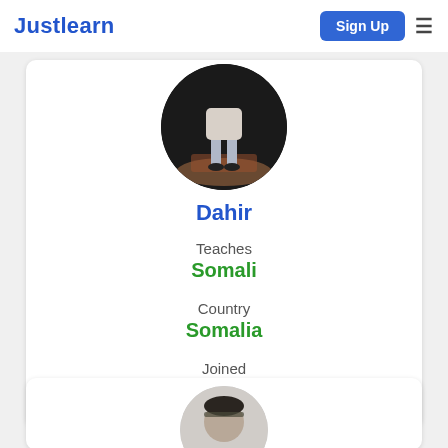Justlearn | Sign Up
[Figure (photo): Profile photo of Dahir, a circular avatar showing a person standing on a rug, dark background]
Dahir
Teaches
Somali
Country
Somalia
Joined
14 April, 2019
[Figure (photo): Partial profile photo of a second tutor, circular avatar, partially visible at bottom of page]